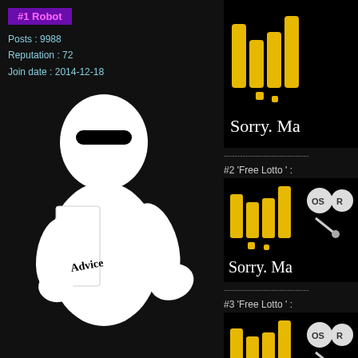#1 Robot
Posts : 9988
Reputation : 72
Join date : 2014-12-18
[Figure (illustration): Baymax robot character holding a sign that says Advice]
[Figure (screenshot): Thumbnail image showing yellow bars and text Sorry. Ma...]
#2 'Free Lotto ' :
[Figure (screenshot): Thumbnail image showing yellow bars, OS/R badge, and text Sorry. Ma...]
#3 'Free Lotto ' :
[Figure (screenshot): Thumbnail image showing yellow bars, OS/R badge, and text Sorry. Ma...]